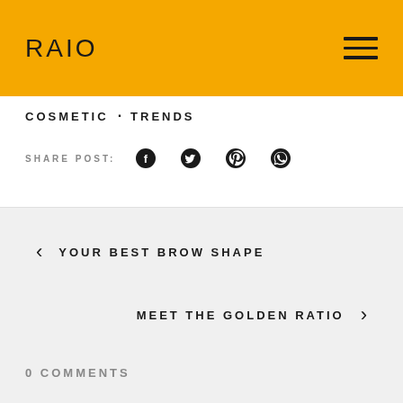RAIO
COSMETIC · TRENDS
SHARE POST:
YOUR BEST BROW SHAPE
MEET THE GOLDEN RATIO
0 COMMENTS